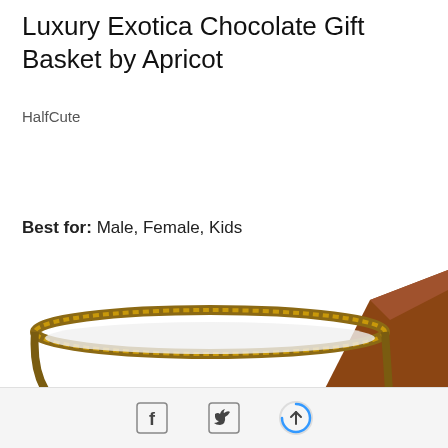Luxury Exotica Chocolate Gift Basket by Apricot
HalfCute
Shop Now
Best for: Male, Female, Kids
[Figure (photo): Top view of a woven basket (chocolate gift basket) with items inside, partially visible at bottom of page, with a wooden surface visible in the background.]
Facebook share icon, Twitter share icon, Scroll-to-top icon